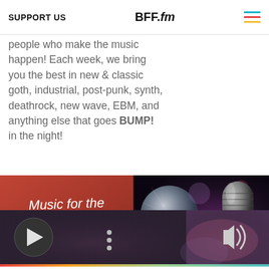SUPPORT US | BFF.fm
people who make the music happen! Each week, we bring you the best in new & classic goth, industrial, post-punk, synth, deathrock, new wave, EBM, and anything else that goes BUMP! in the night!
[Figure (photo): Red album art for 'Music for the Masses – The Darker Side of the 80s' with stylized gothic lettering and eyes at the bottom]
[Figure (photo): Close-up photo of a vintage microphone with bokeh background in purple and dark tones]
[Figure (screenshot): Audio player bar with play button, options menu (three dots), and volume icon on dark/blurred background]